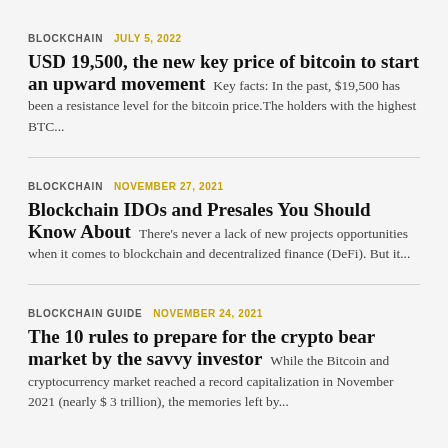BLOCKCHAIN   JULY 5, 2022
USD 19,500, the new key price of bitcoin to start an upward movement
Key facts: In the past, $19,500 has been a resistance level for the bitcoin price.The holders with the highest BTC...
BLOCKCHAIN   NOVEMBER 27, 2021
Blockchain IDOs and Presales You Should Know About
There's never a lack of new projects opportunities when it comes to blockchain and decentralized finance (DeFi). But it...
BLOCKCHAIN GUIDE   NOVEMBER 24, 2021
The 10 rules to prepare for the crypto bear market by the savvy investor
While the Bitcoin and cryptocurrency market reached a record capitalization in November 2021 (nearly $ 3 trillion), the memories left by...